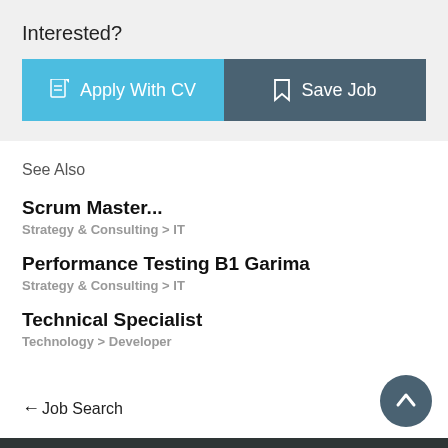Interested?
[Figure (screenshot): Two buttons: 'Apply With CV' (light blue) and 'Save Job' (dark teal-grey)]
See Also
Scrum Master...
Strategy & Consulting > IT
Performance Testing B1 Garima
Strategy & Consulting > IT
Technical Specialist
Technology > Developer
← Job Search